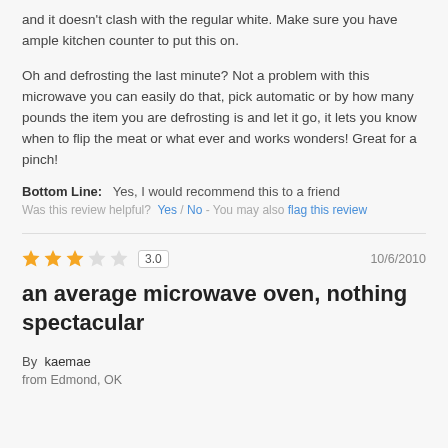and it doesn't clash with the regular white. Make sure you have ample kitchen counter to put this on.
Oh and defrosting the last minute? Not a problem with this microwave you can easily do that, pick automatic or by how many pounds the item you are defrosting is and let it go, it lets you know when to flip the meat or what ever and works wonders! Great for a pinch!
Bottom Line: Yes, I would recommend this to a friend
Was this review helpful? Yes / No - You may also flag this review
[Figure (other): 3-star rating out of 5, displayed as orange filled stars]
3.0
10/6/2010
an average microwave oven, nothing spectacular
By kaemae
from Edmond, OK